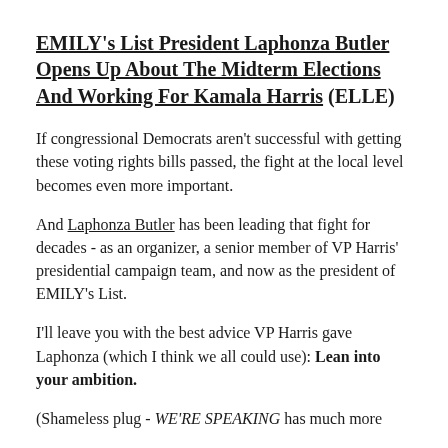EMILY's List President Laphonza Butler Opens Up About The Midterm Elections And Working For Kamala Harris (ELLE)
If congressional Democrats aren't successful with getting these voting rights bills passed, the fight at the local level becomes even more important.
And Laphonza Butler has been leading that fight for decades - as an organizer, a senior member of VP Harris' presidential campaign team, and now as the president of EMILY's List.
I'll leave you with the best advice VP Harris gave Laphonza (which I think we all could use): Lean into your ambition.
(Shameless plug - WE'RE SPEAKING has much more